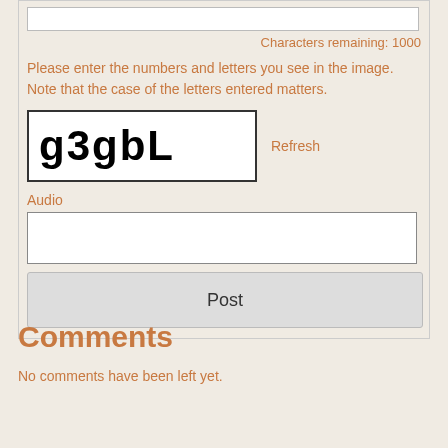Characters remaining: 1000
Please enter the numbers and letters you see in the image. Note that the case of the letters entered matters.
[Figure (other): CAPTCHA image showing the text: g3gbL in bold black letters on white background with border]
Refresh
Audio
Post
Comments
No comments have been left yet.